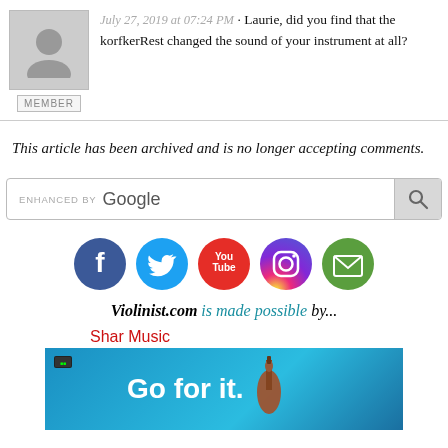July 27, 2019 at 07:24 PM · Laurie, did you find that the korfkerRest changed the sound of your instrument at all?
This article has been archived and is no longer accepting comments.
[Figure (screenshot): Google search bar with 'ENHANCED BY Google' label and search button]
[Figure (infographic): Social media icons: Facebook, Twitter, YouTube, Instagram, Email]
Violinist.com is made possible by...
Shar Music
[Figure (photo): Shar Music advertisement showing violin and music equipment with text 'Go for it.']